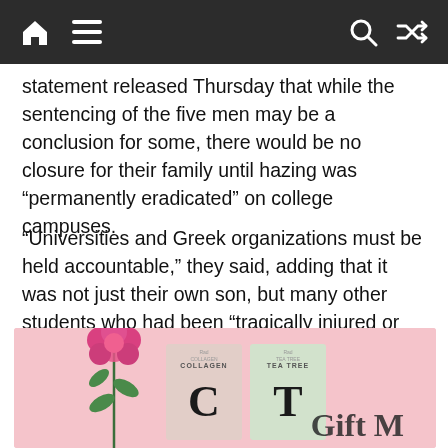Navigation bar with home, menu, search, and shuffle icons
statement released Thursday that while the sentencing of the five men may be a conclusion for some, there would be no closure for their family until hazing was “permanently eradicated” on college campuses.
“Universities and Greek organizations must be held accountable,” they said, adding that it was not just their own son, but many other students who had been “tragically injured or killed because people in power refuse to protect them.”
[Figure (photo): Advertisement banner with pink background showing a pink flower, two skincare product boxes (Collagen and Tea Tree) with large decorative letters C and T, and partial text reading 'Gift M']